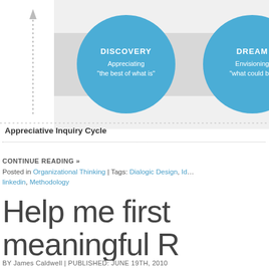[Figure (infographic): Appreciative Inquiry Cycle diagram showing partial view of two blue circles labeled DISCOVERY (Appreciating 'the best of what is') and DREAM (Envisioning 'what could be') with dotted arrow path and chevron connectors on gray background]
Appreciative Inquiry Cycle
CONTINUE READING »
Posted in Organizational Thinking | Tags: Dialogic Design, Id..., linkedin, Methodology
Help me first meaningful R...
BY James Caldwell | PUBLISHED: JUNE 19TH, 2010
BUSINESSES ALWAYS WANT to increase th... forward statement and one which no... question of "How do we, as a compa..."